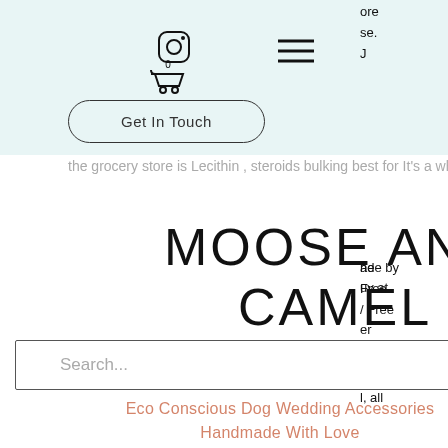[Figure (screenshot): Website navigation header with light teal background containing Instagram icon, shopping cart with 0 items, hamburger menu icon, and a 'Get In Touch' button]
the grocery store is Lecithin , steroids bulking best for  It's a whey protein
MOOSE AND CAMEL
Search...
Eco Conscious Dog Wedding Accessories
Handmade With Love
ore
se.
J
ade by
uy at
he
Free
/ Free
er
/ and
l, all